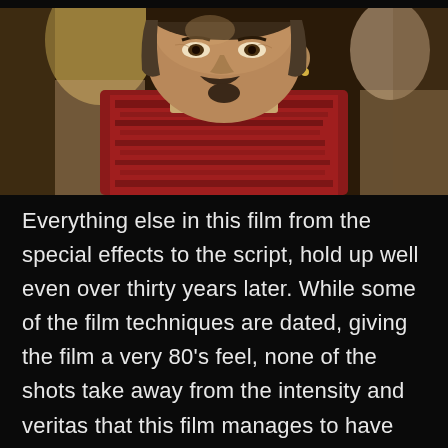[Figure (photo): Close-up photograph of a middle-aged man with a mustache and goatee wearing a decorative red and brown embroidered vest or jacket with ornate patterns. A woman with blonde hair is partially visible in the background to the left, and another figure is partially visible on the right. The photo has a cinematic, film-like quality suggesting it is a movie still.]
Everything else in this film from the special effects to the script, hold up well even over thirty years later. While some of the film techniques are dated, giving the film a very 80's feel, none of the shots take away from the intensity and veritas that this film manages to have from start to finish. In fact, they may actually make the film that much better. One other aspect that really sets this film apart from others is the incredible